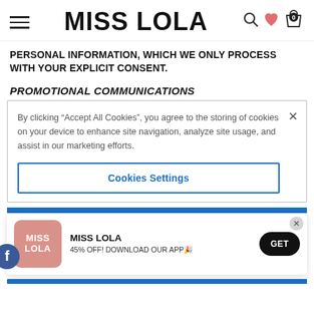[Figure (screenshot): Miss Lola website header with hamburger menu, brand name MISS LOLA, search icon, heart icon, and shopping bag icon with 0 items]
PERSONAL INFORMATION, WHICH WE ONLY PROCESS WITH YOUR EXPLICIT CONSENT.
PROMOTIONAL COMMUNICATIONS
By clicking “Accept All Cookies”, you agree to the storing of cookies on your device to enhance site navigation, analyze site usage, and assist in our marketing efforts.
Cookies Settings
[Figure (screenshot): Miss Lola app promotion banner with pink app icon, MISS LOLA text, 45% OFF! DOWNLOAD OUR APP message, and GET button]